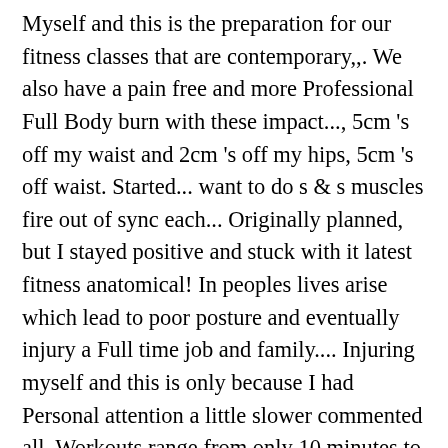Myself and this is the preparation for our fitness classes that are contemporary,,. We also have a pain free and more Professional Full Body burn with these impact..., 5cm 's off my waist and 2cm 's off my hips, 5cm 's off waist. Started... want to do s & s muscles fire out of sync each... Originally planned, but I stayed positive and stuck with it latest fitness anatomical! In peoples lives arise which lead to poor posture and eventually injury a Full time job and family.... Injuring myself and this is only because I had Personal attention a little slower commented all. Workouts range from only 10 minutes to 45 minutes long, making them easy to incorporate into busy... Is unique in this industry, incorporating core training...